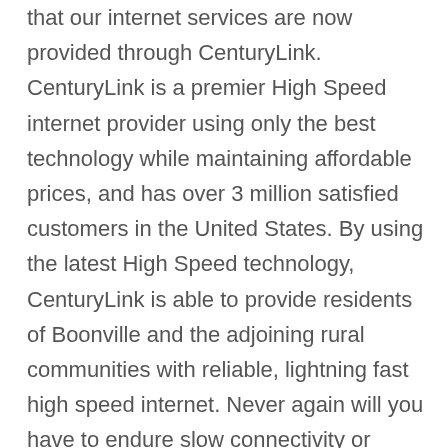that our internet services are now provided through CenturyLink. CenturyLink is a premier High Speed internet provider using only the best technology while maintaining affordable prices, and has over 3 million satisfied customers in the United States. By using the latest High Speed technology, CenturyLink is able to provide residents of Boonville and the adjoining rural communities with reliable, lightning fast high speed internet. Never again will you have to endure slow connectivity or annoying dial-up. CenturyLink has many internet options to choose from, whether you are an occasional internet user or if you are constantly connected streaming media or playing games. If you are looking for the best internet service provider in your area, look no further than CenturyLink in Boonville, MO.